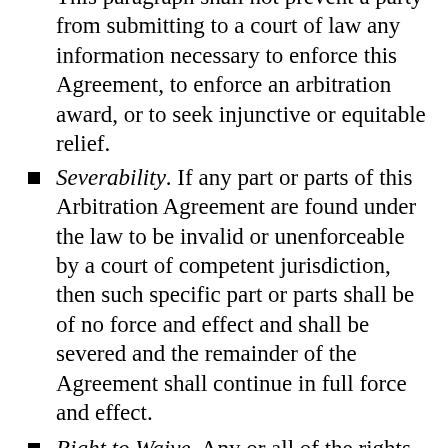This paragraph shall not prevent a party from submitting to a court of law any information necessary to enforce this Agreement, to enforce an arbitration award, or to seek injunctive or equitable relief.
Severability. If any part or parts of this Arbitration Agreement are found under the law to be invalid or unenforceable by a court of competent jurisdiction, then such specific part or parts shall be of no force and effect and shall be severed and the remainder of the Agreement shall continue in full force and effect.
Right to Waive. Any or all of the rights and limitations set forth in